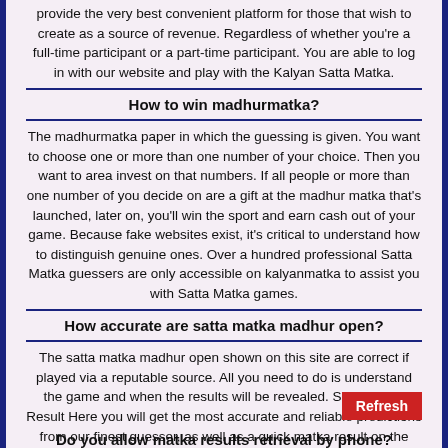provide the very best convenient platform for those that wish to create as a source of revenue. Regardless of whether you're a full-time participant or a part-time participant. You are able to log in with our website and play with the Kalyan Satta Matka.
How to win madhurmatka?
The madhurmatka paper in which the guessing is given. You want to choose one or more than one number of your choice. Then you want to area invest on that numbers. If all people or more than one number of you decide on are a gift at the madhur matka that's launched, later on, you'll win the sport and earn cash out of your game. Because fake websites exist, it's critical to understand how to distinguish genuine ones. Over a hundred professional Satta Matka guessers are only accessible on kalyanmatka to assist you with Satta Matka games.
How accurate are satta matka madhur open?
The satta matka madhur open shown on this site are correct if played via a reputable source. All you need to do is understand the game and when the results will be revealed. Satta Matka Result Here you will get the most accurate and reliable predictions from our finest guesser, as well as a quick matka result on the best online betting platform. You may get the outcomes of a sattamatka game by visiting a certain website. At all instances, choose a well-known website.
Do you allow matka results retrieval by phone?